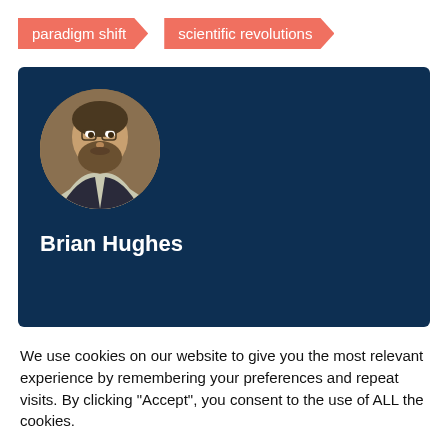paradigm shift
scientific revolutions
[Figure (photo): Profile card with circular portrait photo of Brian Hughes (bearded man wearing glasses) on a dark navy blue background]
Brian Hughes
We use cookies on our website to give you the most relevant experience by remembering your preferences and repeat visits. By clicking "Accept", you consent to the use of ALL the cookies.
Cookie settings
ACCEPT